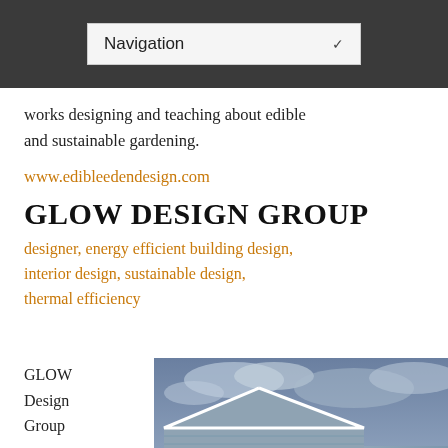Navigation
works designing and teaching about edible and sustainable gardening.
www.edibleedendesign.com
GLOW DESIGN GROUP
designer, energy efficient building design, interior design, sustainable design, thermal efficiency
GLOW Design Group
[Figure (photo): Exterior photograph of a modern building with grey horizontal clapboard siding, a gabled roof with white trim, large timber-framed window with warm interior lighting, taken at dusk with a cloudy blue sky.]